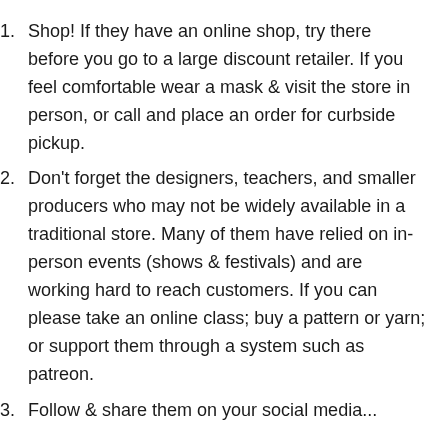Shop! If they have an online shop, try there before you go to a large discount retailer. If you feel comfortable wear a mask & visit the store in person, or call and place an order for curbside pickup.
Don't forget the designers, teachers, and smaller producers who may not be widely available in a traditional store. Many of them have relied on in-person events (shows & festivals) and are working hard to reach customers. If you can please take an online class; buy a pattern or yarn; or support them through a system such as patreon.
Follow & share them on your social media...